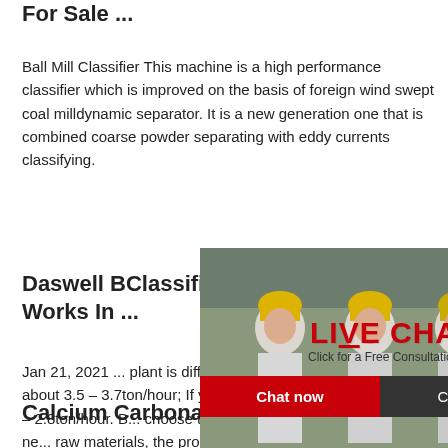For Sale ...
Ball Mill Classifier This machine is a high performance classifier which is improved on the basis of foreign wind swept coal milldynamic separator. It is a new generation one that is combined coarse powder separating with eddy currents classifying.
Daswell B... Classifier Works In ...
Jan 21, 2021 ... plant is differ... you need. If ... capacity is about 3.5 – 3.7ton/hour; If you... micron, its capacity is 2.6 – 2.8ton/hour. B... choose the grinding mill machine, you ne... raw materials, the production capacity of ... the ...
[Figure (screenshot): Live chat popup overlay with construction workers background, LIVE CHAT heading in red, Chat now and Chat later buttons, and a customer service agent photo on the right side. Also shows '24 Hrs Online' red badge and 'Need questions & suggestion? Chat Now' box.]
Calcium Carbonate Modification ...